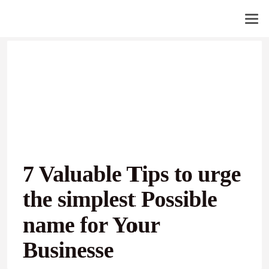7 Valuable Tips to urge the simplest Possible name for Your Businesse